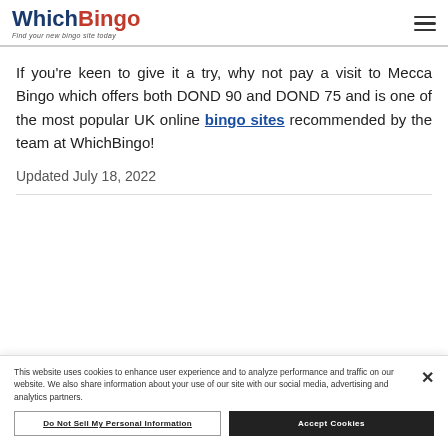WhichBingo — Find your new bingo site today
If you're keen to give it a try, why not pay a visit to Mecca Bingo which offers both DOND 90 and DOND 75 and is one of the most popular UK online bingo sites recommended by the team at WhichBingo!
Updated July 18, 2022
This website uses cookies to enhance user experience and to analyze performance and traffic on our website. We also share information about your use of our site with our social media, advertising and analytics partners.
Do Not Sell My Personal Information
Accept Cookies